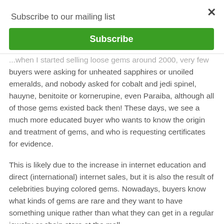Subscribe to our mailing list
Subscribe
...when I started selling loose gems around 2000, very few buyers were asking for unheated sapphires or unoiled emeralds, and nobody asked for cobalt and jedi spinel, hauyne, benitoite or kornerupine, even Paraiba, although all of those gems existed back then! These days, we see a much more educated buyer who wants to know the origin and treatment of gems, and who is requesting certificates for evidence.
This is likely due to the increase in internet education and direct (international) internet sales, but it is also the result of celebrities buying colored gems. Nowadays, buyers know what kinds of gems are rare and they want to have something unique rather than what they can get in a regular jewelry or chain store at the mall.